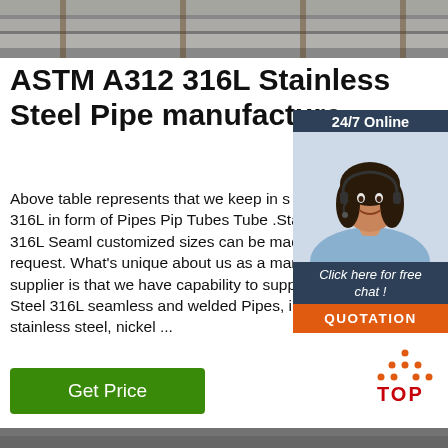[Figure (photo): Top strip photo showing stainless steel pipes/materials in a warehouse or industrial setting]
ASTM A312 316L Stainless Steel Pipe manufacturer
[Figure (photo): Customer service representative with headset, 24/7 Online chat widget with dark blue background, woman smiling, Click here for free chat button, and orange QUOTATION button]
Above table represents that we keep in s Stainless Steel 316L in form of Pipes Pip Tubes Tube .Stainless steel 316L Seaml customized sizes can be made available request. What's unique about us as a manufacturer & supplier is that we have capability to supply Stainless Steel 316L seamless and welded Pipes, in a wide ra stainless steel, nickel ...
[Figure (logo): Orange and red TOP logo with triangle made of dots above the word TOP]
[Figure (photo): Bottom strip photo, partial view]
Get Price